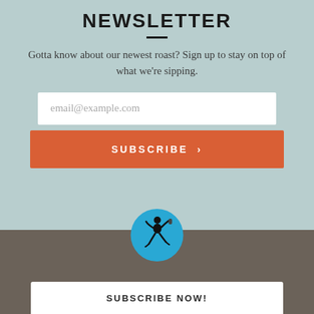NEWSLETTER
Gotta know about our newest roast? Sign up to stay on top of what we're sipping.
[Figure (infographic): Email input field with placeholder 'email@example.com' followed by an orange SUBSCRIBE button with a right chevron]
[Figure (logo): Circular blue logo with a dancing figure illustration]
SUBSCRIBE NOW!